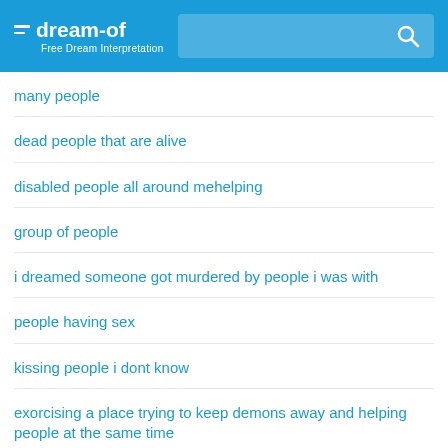dream-of — Free Dream Interpretation
many people
dead people that are alive
disabled people all around mehelping
group of people
i dreamed someone got murdered by people i was with
people having sex
kissing people i dont know
exorcising a place trying to keep demons away and helping people at the same time
dreams with other people
gathering woth people
two people are having a fist fight